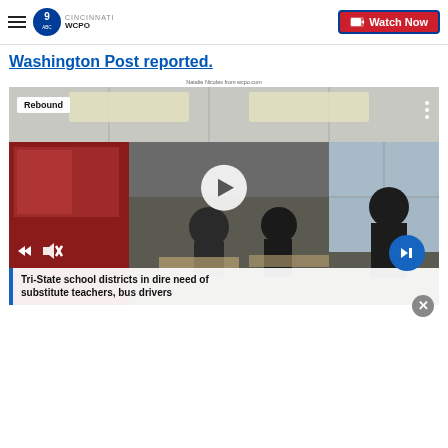WCPO 9 Cincinnati — Watch Now
Washington Post reported.
Natalie Nicolas from wcpo.com
[Figure (screenshot): Video player showing a classroom scene with students and a teacher. A 'Rebound' badge appears in the top-left corner. A white play button is centered. Navigation/control icons visible. Video title bar at bottom reads: 'Tri-State school districts in dire need of substitute teachers, bus drivers']
Tri-State school districts in dire need of substitute teachers, bus drivers